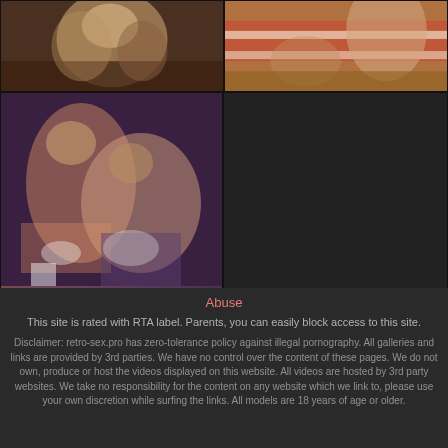[Figure (photo): Two thumbnail images side by side at top: left shows a person with blonde hair, right shows two people on a red striped surface outdoors]
[Figure (photo): Large thumbnail on bottom left showing two people, and empty dark area on bottom right]
Abuse
This site is rated with RTA label. Parents, you can easily block access to this site.
Disclaimer: retro-sex.pro has zero-tolerance policy against illegal pornography. All galleries and links are provided by 3rd parties. We have no control over the content of these pages. We do not own, produce or host the videos displayed on this website. All videos are hosted by 3rd party websites. We take no responsibility for the content on any website which we link to, please use your own discretion while surfing the links. All models are 18 years of age or older.